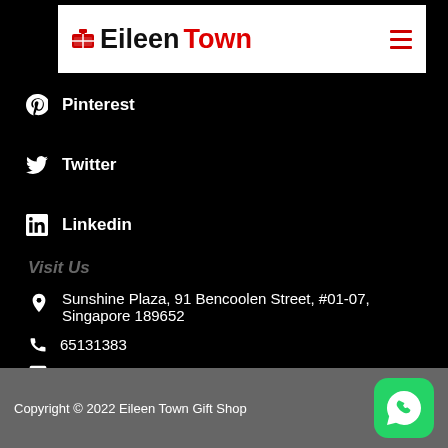Eileen Town
Pinterest
Twitter
Linkedin
Visit Us
Sunshine Plaza, 91 Bencoolen Street, #01-07, Singapore 189652
65131383
96679796 (WhatsApp)
gift@eileentown.com
Copyright © 2022 Eileen Town Gift Shop